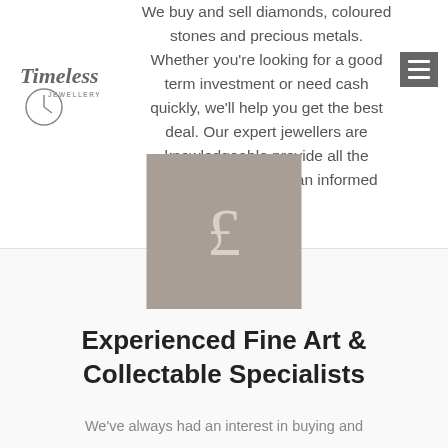[Figure (logo): Timeless Jewellery logo with clock icon]
[Figure (other): Hamburger menu icon (three horizontal lines on grey background)]
We buy and sell diamonds, coloured stones and precious metals. Whether you're looking for a good term investment or need cash quickly, we'll help you get the best deal. Our expert jewellers are knowledgeable provide all the information to make an informed decision.
Read More →
[Figure (other): Grey square box containing a white pound sterling (£) symbol]
Experienced Fine Art & Collectable Specialists
We've always had an interest in buying and